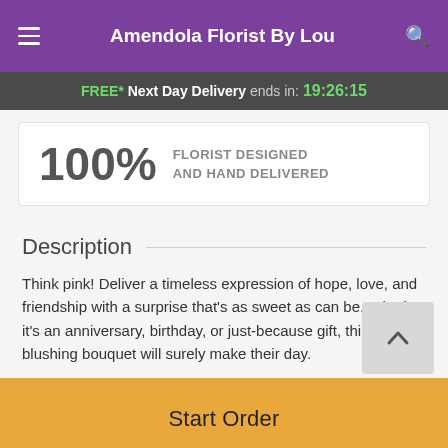Amendola Florist By Lou
FREE* Next Day Delivery ends in: 19:26:15
100% FLORIST DESIGNED AND HAND DELIVERED
Description
Think pink! Deliver a timeless expression of hope, love, and friendship with a surprise that's as sweet as can be. Whether it's an anniversary, birthday, or just-because gift, this blushing bouquet will surely make their day.
Brimming with Stargazer lilies, mini Gerbera daisies, pink
Start Order